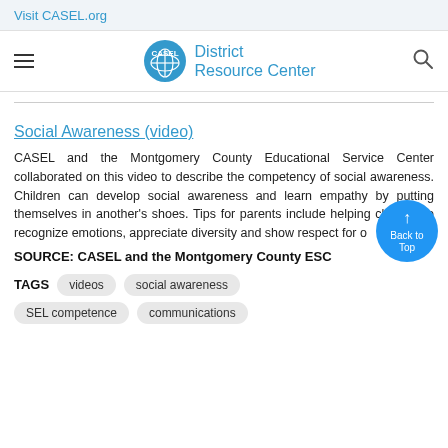Visit CASEL.org
[Figure (logo): CASEL District Resource Center logo with blue globe icon and text]
Social Awareness (video)
CASEL and the Montgomery County Educational Service Center collaborated on this video to describe the competency of social awareness. Children can develop social awareness and learn empathy by putting themselves in another's shoes. Tips for parents include helping children to recognize emotions, appreciate diversity and show respect for others.
SOURCE: CASEL and the Montgomery County ESC
TAGS   videos   social awareness
SEL competence   communications